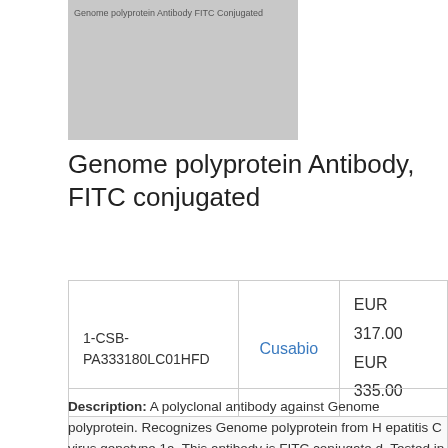[Figure (photo): Product image placeholder for Genome polyprotein Antibody FITC conjugated]
Genome polyprotein Antibody, FITC conjugated
| Catalog Number | Supplier | Price |
| --- | --- | --- |
| 1-CSB-PA333180LC01HFD | Cusabio | EUR 317.00 EUR 335.00 |
Description: A polyclonal antibody against Genome polyprotein. Recognizes Genome polyprotein from Hepatitis C virus genotype 1a. This antibody is FITC conjugated. Tested in the following application: ELISA